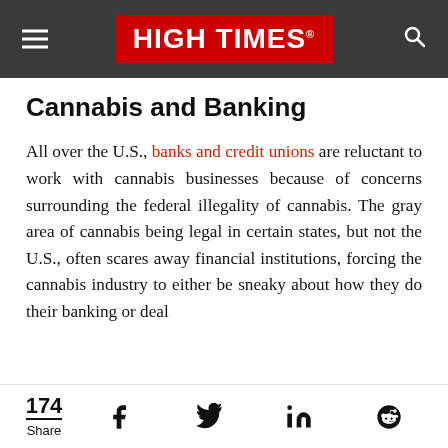HIGH TIMES
Cannabis and Banking
All over the U.S., banks and credit unions are reluctant to work with cannabis businesses because of concerns surrounding the federal illegality of cannabis. The gray area of cannabis being legal in certain states, but not the U.S., often scares away financial institutions, forcing the cannabis industry to either be sneaky about how they do their banking or deal
174 Share